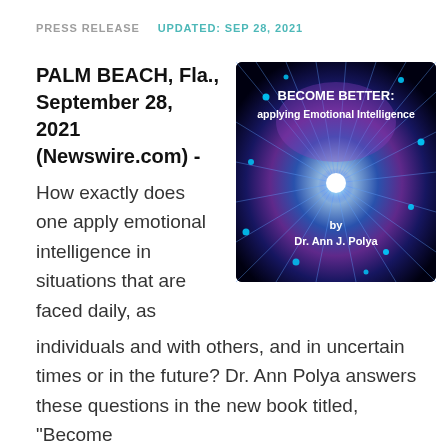PRESS RELEASE   UPDATED: SEP 28, 2021
PALM BEACH, Fla., September 28, 2021 (Newswire.com) - How exactly does one apply emotional intelligence in situations that are faced daily, as individuals and with others, and in uncertain times or in the future? Dr. Ann Polya answers these questions in the new book titled, "Become
[Figure (photo): Book cover for 'BECOME BETTER: applying Emotional Intelligence' by Dr. Ann J. Polya. Dark background with blue and purple light rays bursting from center, with white text overlay.]